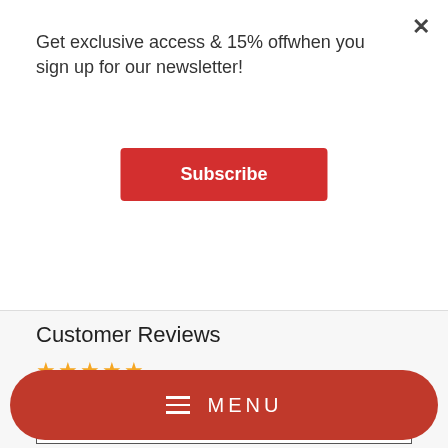Get exclusive access & 15% offwhen you sign up for our newsletter!
Subscribe
Customer Reviews
Based on 22 reviews
Write a review
Ask a question
[Figure (infographic): 5-star rating bar row: 5 orange stars, yellow/orange progress bar, 100% (22)]
MENU
[Figure (infographic): 2-star rating bar row: 2 orange stars + 3 empty stars, empty bar, 0% (0)]